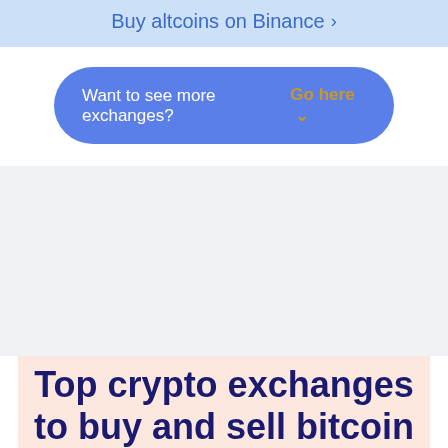Buy altcoins on Binance >
Want to see more exchanges?  Go here ˅
Top crypto exchanges to buy and sell bitcoin in Norway